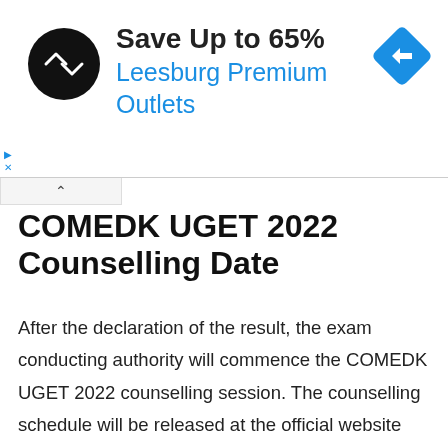[Figure (other): Advertisement banner: Save Up to 65% Leesburg Premium Outlets with logo and navigation icon]
COMEDK UGET 2022 Counselling Date
After the declaration of the result, the exam conducting authority will commence the COMEDK UGET 2022 counselling session. The counselling schedule will be released at the official website later. Candidates first need to complete the COMEDK UGET counselling registration 2022 from the portal. The first step in COMEDK UGET counselling is the choice filling process. After conclusion of the choice filling, the exam